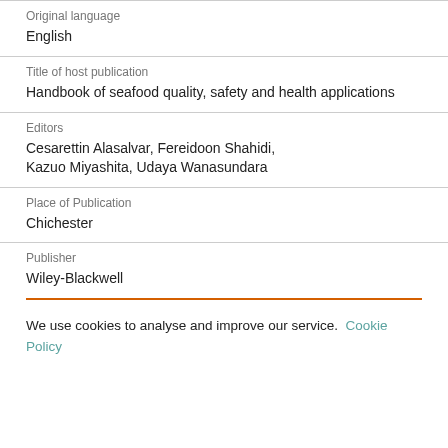Original language
English
Title of host publication
Handbook of seafood quality, safety and health applications
Editors
Cesarettin Alasalvar, Fereidoon Shahidi, Kazuo Miyashita, Udaya Wanasundara
Place of Publication
Chichester
Publisher
Wiley-Blackwell
We use cookies to analyse and improve our service. Cookie Policy